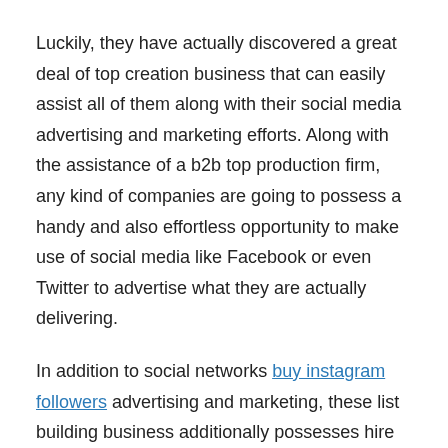Luckily, they have actually discovered a great deal of top creation business that can easily assist all of them along with their social media advertising and marketing efforts. Along with the assistance of a b2b top production firm, any kind of companies are going to possess a handy and also effortless opportunity to make use of social media like Facebook or even Twitter to advertise what they are actually delivering.
In addition to social networks buy instagram followers advertising and marketing, these list building business additionally possesses hire expert consultation setters that are actually functioning night and day before a telephone, contacting customers as well as compile as well as creating advertising leads and also purchases leads that can easily trigger a much bigger earnings for providers.
Folks begin purchasing their items or even availing their